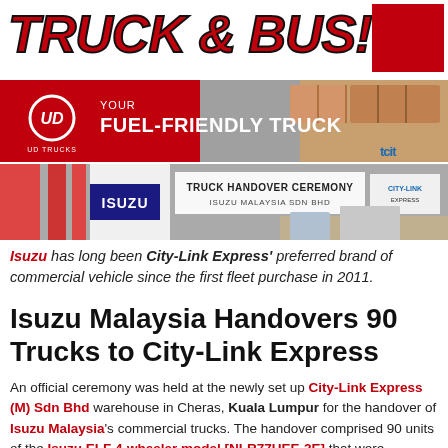TRUCK & BUS!
[Figure (photo): UD Trucks advertisement banner: YOUR FUEL-FRIENDLY TRUCK with UD Trucks logo and truck image]
[Figure (photo): Truck Handover Ceremony banner photo for Isuzu Malaysia Sdn Bhd and City-Link]
Isuzu has long been City-Link Express' preferred brand of commercial vehicle since the first fleet purchase in 2011.
Isuzu Malaysia Handovers 90 Trucks to City-Link Express
An official ceremony was held at the newly set up City-Link Express (M) Sdn Bhd warehouse in Cheras, Kuala Lumpur for the handover of Isuzu Malaysia's commercial trucks. The handover comprised 90 units of the Isuzu ELF 4-wheeler model [NLR77UEE-2E] that were procured to meet the company's business expansion plans.